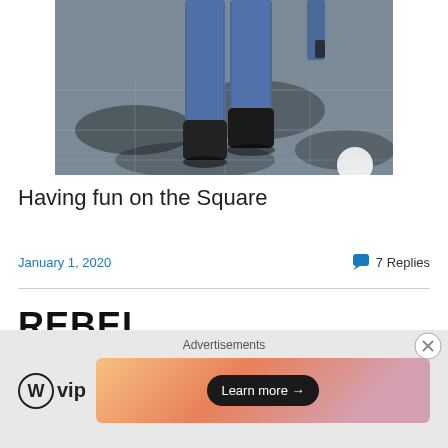[Figure (photo): Cropped photo showing lower body of a person wearing blue jeans and black boots, walking on a tiled outdoor square with dappled tree shadows]
Having fun on the Square
January 1, 2020
7 Replies
REBEL
Advertisements
[Figure (logo): WordPress VIP logo with circle W icon and 'vip' text]
[Figure (illustration): Advertisement banner with gradient orange/pink background and 'Learn more →' button]